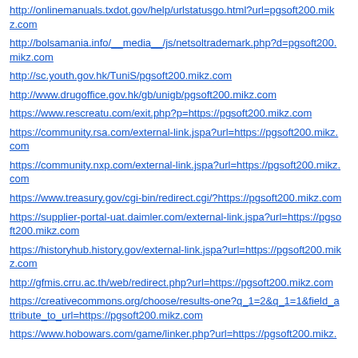http://onlinemanuals.txdot.gov/help/urlstatusgo.html?url=pgsoft200.mikz.com
http://bolsamania.info/__media__/js/netsoltrademark.php?d=pgsoft200.mikz.com
http://sc.youth.gov.hk/TuniS/pgsoft200.mikz.com
http://www.drugoffice.gov.hk/gb/unigb/pgsoft200.mikz.com
https://www.rescreatu.com/exit.php?p=https://pgsoft200.mikz.com
https://community.rsa.com/external-link.jspa?url=https://pgsoft200.mikz.com
https://community.nxp.com/external-link.jspa?url=https://pgsoft200.mikz.com
https://www.treasury.gov/cgi-bin/redirect.cgi/?https://pgsoft200.mikz.com
https://supplier-portal-uat.daimler.com/external-link.jspa?url=https://pgsoft200.mikz.com
https://historyhub.history.gov/external-link.jspa?url=https://pgsoft200.mikz.com
http://gfmis.crru.ac.th/web/redirect.php?url=https://pgsoft200.mikz.com
https://creativecommons.org/choose/results-one?q_1=2&q_1=1&field_attribute_to_url=https://pgsoft200.mikz.com
https://www.hobowars.com/game/linker.php?url=https://pgsoft200.mikz.com